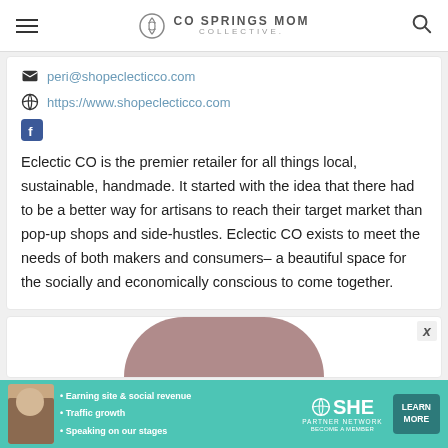CO SPRINGS MOM COLLECTIVE
peri@shopeclecticco.com
https://www.shopeclecticco.com
[Facebook icon]
Eclectic CO is the premier retailer for all things local, sustainable, handmade. It started with the idea that there had to be a better way for artisans to reach their target market than pop-up shops and side-hustles. Eclectic CO exists to meet the needs of both makers and consumers– a beautiful space for the socially and economically conscious to come together.
[Figure (other): Partially visible circular image at bottom of page with pink/mauve arch shape]
[Figure (other): SHE Partner Network advertisement banner with teal background, photo of woman, bullet points about earning site & social revenue, traffic growth, speaking on our stages, and a LEARN MORE button]